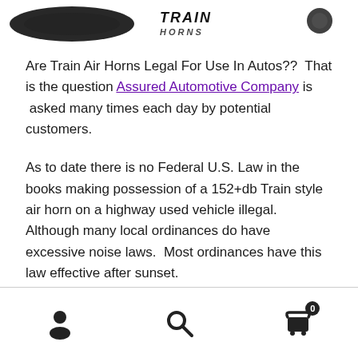[Figure (photo): Partial product image showing a curved hose or air horn component with a logo/brand text in the center and a small circular logo on the right, partially cropped at top of page.]
Are Train Air Horns Legal For Use In Autos??  That is the question Assured Automotive Company is  asked many times each day by potential customers.
As to date there is no Federal U.S. Law in the books making possession of a 152+db Train style air horn on a highway used vehicle illegal.  Although many local ordinances do have excessive noise laws.  Most ordinances have this law effective after sunset.
If an individual uses a train air horn recklessly, that same
User icon | Search icon | Cart icon with badge 0